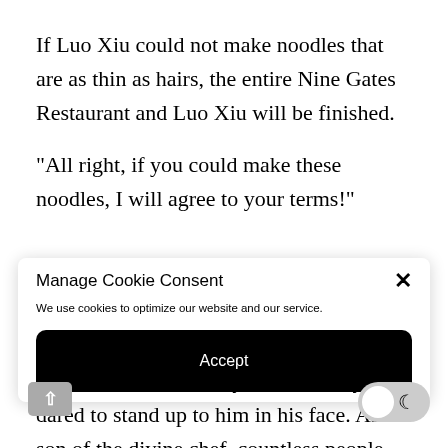If Luo Xiu could not make noodles that are as thin as hairs, the entire Nine Gates Restaurant and Luo Xiu will be finished.
“All right, if you could make these noodles, I will agree to your terms!”
Manage Cookie Consent
We use cookies to optimize our website and our service.
Accept
From the time he was young until now, this is the first and only time that anyone dared to stand up to him in his face. As the son of the divine chef, countless people only hav or fear of him. Only Luo Xiu dared to look at him in the eyes